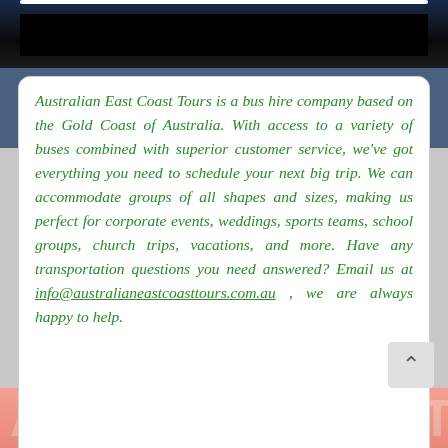[Figure (screenshot): Dark navy banner at top with a black redaction bar covering text]
Australian East Coast Tours is a bus hire company based on the Gold Coast of Australia. With access to a variety of buses combined with superior customer service, we've got everything you need to schedule your next big trip. We can accommodate groups of all shapes and sizes, making us perfect for corporate events, weddings, sports teams, school groups, church trips, vacations, and more. Have any transportation questions you need answered? Email us at info@australianeastcoasttours.com.au , we are always happy to help.
[Figure (screenshot): Salmon/pink bottom banner with large partially visible white watermark text]